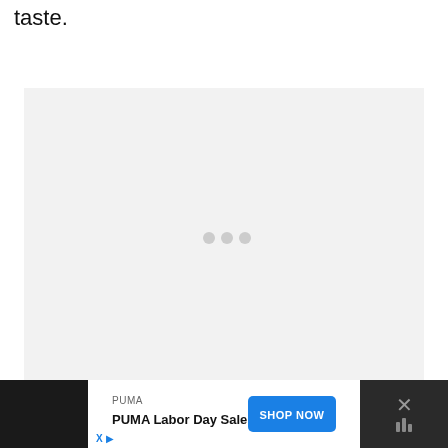taste.
[Figure (other): Gray loading placeholder box with three gray dots centered, indicating content is loading]
[Figure (other): Advertisement banner for PUMA Labor Day Sale with Shop Now button and close/mute controls on dark background]